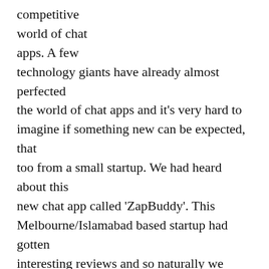competitive world of chat apps. A few technology giants have already almost perfected the world of chat apps and it's very hard to imagine if something new can be expected, that too from a small startup. We had heard about this new chat app called 'ZapBuddy'. This Melbourne/Islamabad based startup had gotten interesting reviews and so naturally we were excited to check it out for ourselves.
Our first impression was that it was a very interesting concept. It had succeeded to get our attention and decided to try it further. We tried the app out and it felt smooth and well thought